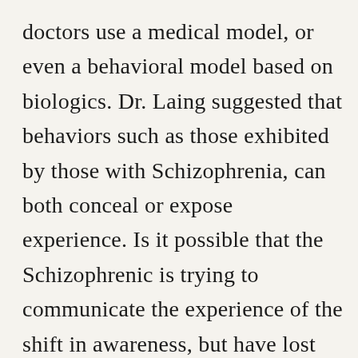doctors use a medical model, or even a behavioral model based on biologics. Dr. Laing suggested that behaviors such as those exhibited by those with Schizophrenia, can both conceal or expose experience. Is it possible that the Schizophrenic is trying to communicate the experience of the shift in awareness, but have lost their connection with the world around them?